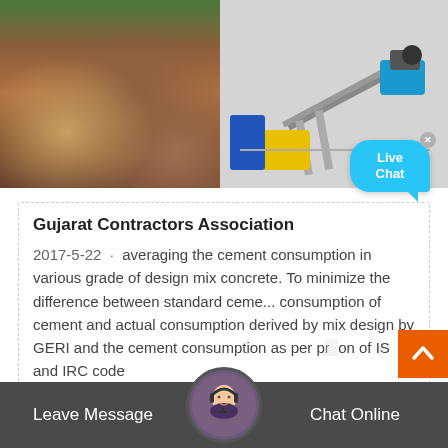[Figure (photo): Left: aerial view of a large industrial mining or processing plant with circular tanks and equipment. Right: indoor photo of heavy conveyor/mining machinery with yellow and blue equipment on grey floor.]
Gujarat Contractors Association
2017-5-22 · averaging the cement consumption in various grade of design mix concrete. To minimize the difference between standard ceme... consumption of cement and actual consumption derived by mix design by GERI and the cement consumption as per provision of IS and IRC code
Leave Message   Chat Online